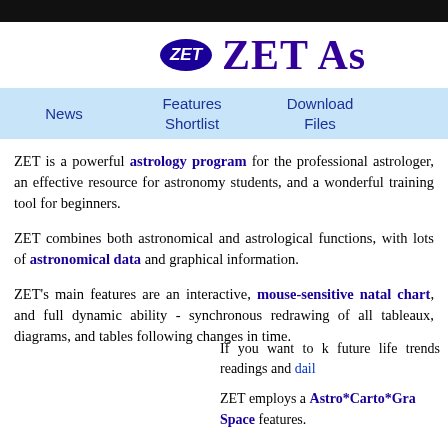ZET AS
News | Features Shortlist | Download Files
ZET is a powerful astrology program for the professional astrologer, an effective resource for astronomy students, and a wonderful training tool for beginners.
ZET combines both astronomical and astrological functions, with lots of astronomical data and graphical information.
ZET's main features are an interactive, mouse-sensitive natal chart, and full dynamic ability - synchronous redrawing of all tableaux, diagrams, and tables following changes in time.
If you want to k future life trends readings and dail
ZET employs a Astro*Carto*Gra Space features.